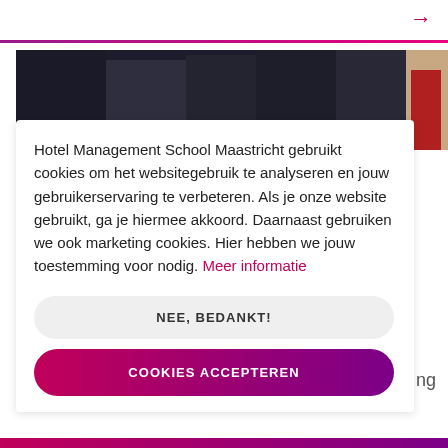[Figure (photo): Group of people in formal/academic attire, partially visible photo strip at top of page]
Hotel Management School Maastricht gebruikt cookies om het websitegebruik te analyseren en jouw gebruikerservaring te verbeteren. Als je onze website gebruikt, ga je hiermee akkoord. Daarnaast gebruiken we ook marketing cookies. Hier hebben we jouw toestemming voor nodig. Meer informatie
NEE, BEDANKT!
COOKIES ACCEPTEREN
ng